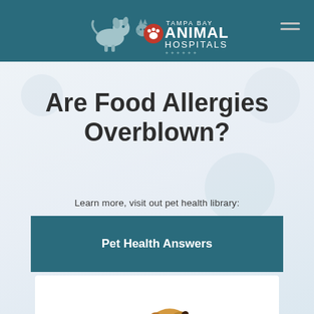[Figure (logo): Tampa Bay Animal Hospitals logo with dog/cat silhouettes and red paw print icon]
Are Food Allergies Overblown?
Learn more, visit out pet health library:
Pet Health Answers
[Figure (photo): A golden/tan dog looking upward, photographed from below against a white background]